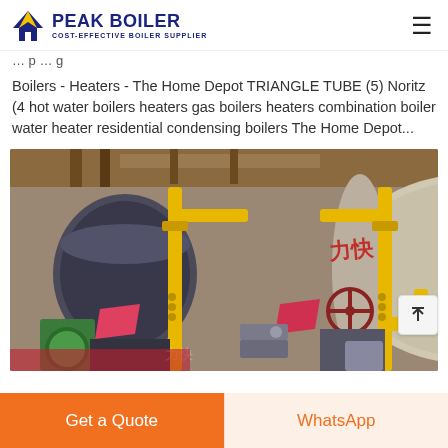PEAK BOILER — COST-EFFECTIVE BOILER SUPPLIER
Boilers - Heaters - The Home Depot TRIANGLE TUBE (5) Noritz (4 hot water boilers heaters gas boilers heaters combination boiler water heater residential condensing boilers The Home Depot...
[Figure (photo): Industrial gas boilers with yellow gas pipes and valves in a factory/warehouse setting, with Chinese characters (力快) visible on the equipment]
Get a Quote
WhatsApp